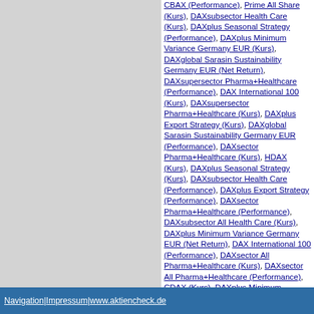CBAX (Performance), Prime All Share (Kurs), DAXsubsector Health Care (Kurs), DAXplus Seasonal Strategy (Performance), DAXplus Minimum Variance Germany EUR (Kurs), DAXglobal Sarasin Sustainability Germany EUR (Net Return), DAXsupersector Pharma+Healthcare (Performance), DAX International 100 (Kurs), DAXsupersector Pharma+Healthcare (Kurs), DAXplus Export Strategy (Kurs), DAXglobal Sarasin Sustainability Germany EUR (Performance), DAXsector Pharma+Healthcare (Kurs), HDAX (Kurs), DAXplus Seasonal Strategy (Kurs), DAXsubsector Health Care (Performance), DAXplus Export Strategy (Performance), DAXsector Pharma+Healthcare (Performance), DAXsubsector All Health Care (Kurs), DAXplus Minimum Variance Germany EUR (Net Return), DAX International 100 (Performance), DAXsector All Pharma+Healthcare (Kurs), DAXsector All Pharma+Healthcare (Performance), CDAX (Kurs), DAXplus Minimum Variance Germany EUR (Performance), DAXglobal Sarasin Sustainability Germany EUR (Kurs), DAX (Kurs), DAXsubsector All Health Care (Performance), DAX ex Financials (Performance), DAX ex Financials (Kurs), Tradegate DAX-Indikation (Performance), DAX 30 ex Financials (Performance), DAX 30 ex Financials (Kurs), DAX Net Return, ScoachCH usable UL Favs, DAX Ex Financials 30 NR EUR, CDAX (Net Return), Prime All Share (Net Return), DAX ESG Target (Kurs) EUR, DAX ESG Target (Performance) EUR, DAX ESG SCREENED PR EUR, DAX ESG SCREENED TR EUR, DAX ESG SCREENED NR EUR, DAX ESG Target (Net Return) EUR
Navigation | Impressum | www.aktiencheck.de